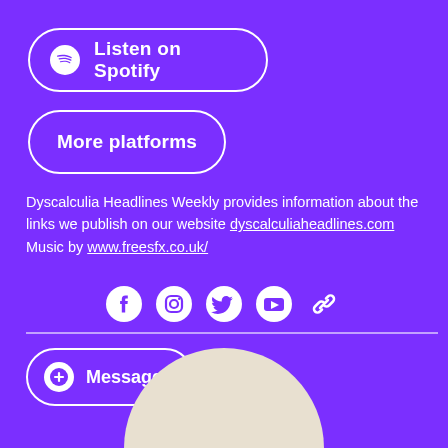[Figure (other): Listen on Spotify button with Spotify logo icon, white border rounded button on purple background]
[Figure (other): More platforms button, white border rounded button on purple background]
Dyscalculia Headlines Weekly provides information about the links we publish on our website dyscalculiaheadlines.com Music by www.freesfx.co.uk/
[Figure (other): Social media icons row: Facebook, Instagram, Twitter/X, YouTube, Link/chain icon]
[Figure (other): Horizontal white divider line]
[Figure (other): Message button with plus/chat icon, white border rounded button on purple background]
[Figure (other): Partial profile picture arc at bottom of page, beige/cream rounded top shape]